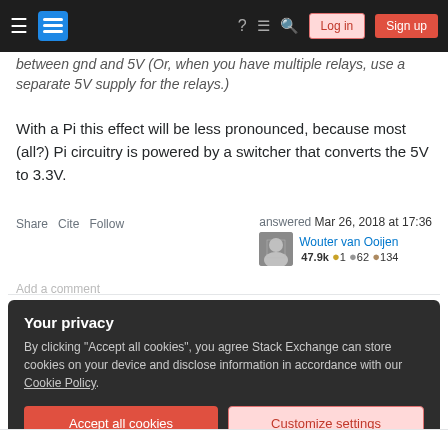Stack Exchange navigation bar with logo, icons, Log in and Sign up buttons
between gnd and 5V (Or, when you have multiple relays, use a separate 5V supply for the relays.)
With a Pi this effect will be less pronounced, because most (all?) Pi circuitry is powered by a switcher that converts the 5V to 3.3V.
Share  Cite  Follow  answered Mar 26, 2018 at 17:36  Wouter van Ooijen  47.9k  1  62  134
Add a comment
Your privacy
By clicking "Accept all cookies", you agree Stack Exchange can store cookies on your device and disclose information in accordance with our Cookie Policy.
Accept all cookies
Customize settings